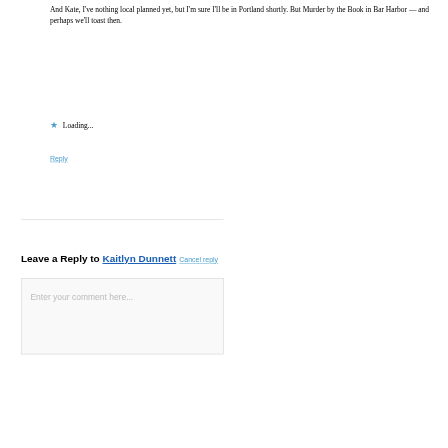And Kate, I've nothing local planned yet, but I'm sure I'll be in Portland shortly. But Murder by the Book in Bar Harbor — and perhaps we'll toast then.
Loading...
Reply
Leave a Reply to Kaitlyn Dunnett Cancel reply
Enter your comment here...